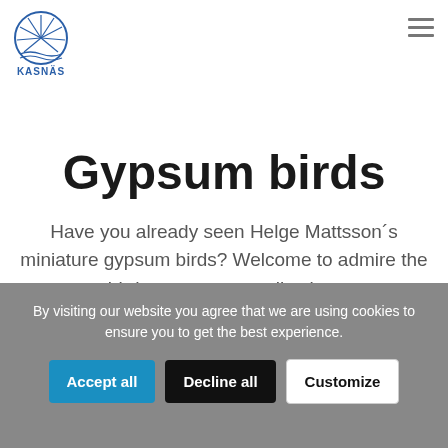[Figure (logo): Kasnäs logo: circular blue shell/sunrise motif above text KASNÄS in blue]
Gypsum birds
Have you already seen Helge Mattsson´s miniature gypsum birds? Welcome to admire the birds or to start a collection.
By visiting our website you agree that we are using cookies to ensure you to get the best experience.